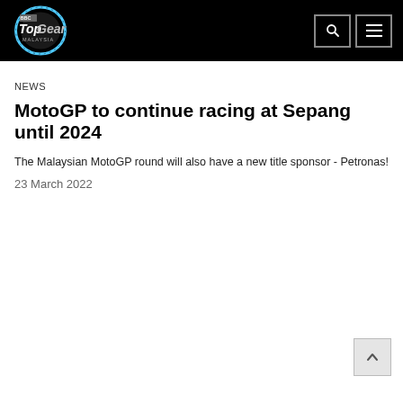[Figure (logo): BBC Top Gear Malaysia logo in white/silver on black background]
NEWS
MotoGP to continue racing at Sepang until 2024
The Malaysian MotoGP round will also have a new title sponsor - Petronas!
23 March 2022